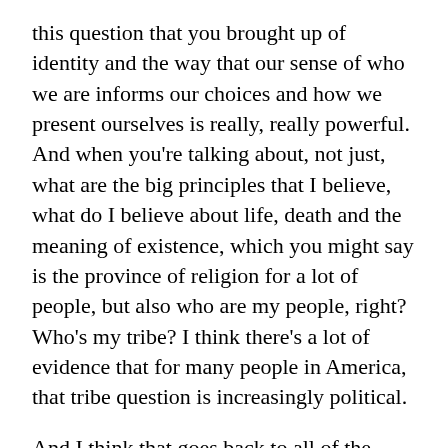this question that you brought up of identity and the way that our sense of who we are informs our choices and how we present ourselves is really, really powerful. And when you're talking about, not just, what are the big principles that I believe, what do I believe about life, death and the meaning of existence, which you might say is the province of religion for a lot of people, but also who are my people, right? Who's my tribe? I think there's a lot of evidence that for many people in America, that tribe question is increasingly political.
And I think that goes back to all of the things I was talking about, the way that we sort of sort ourselves and live our lives based on these artisan factors that sort of put us in these different buckets. One of my favorite research stats or study stats, the Atlantic did a partnership with the Public Religion Research